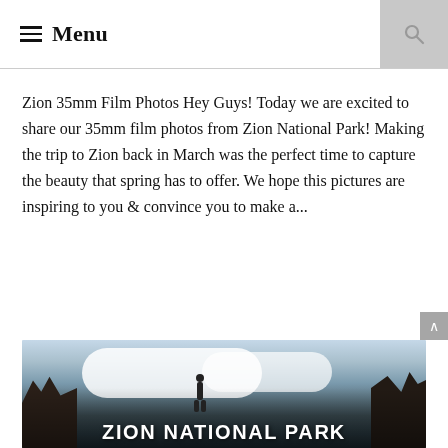Menu
Zion 35mm Film Photos Hey Guys! Today we are excited to share our 35mm film photos from Zion National Park! Making the trip to Zion back in March was the perfect time to capture the beauty that spring has to offer. We hope this pictures are inspiring to you & convince you to make a...
CONTINUE READING →
[Figure (photo): Bottom portion of a photo showing Zion National Park with cloudy sky, rocky cliffs on left and right, and large white text overlay reading 'ZION NATIONAL PARK']